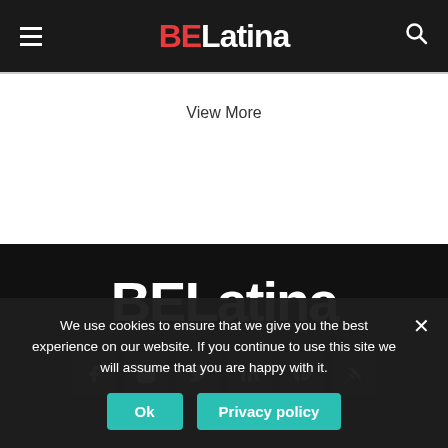BELatina
View More
[Figure (logo): BELatina logo in white on black background, large bold text]
[Figure (infographic): Social media icon buttons: Facebook, Instagram, Twitter, LinkedIn, Pinterest, RSS]
We use cookies to ensure that we give you the best experience on our website. If you continue to use this site we will assume that you are happy with it.
Ok   Privacy policy